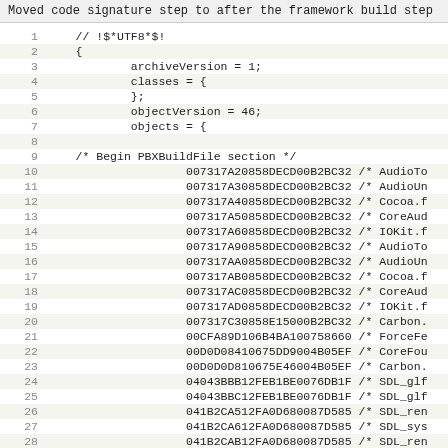Moved code signature step to after the framework build step
Code listing: Xcode project file (.pbxproj)
Lines 1-29 showing archive format header and PBXBuildFile section with object identifiers